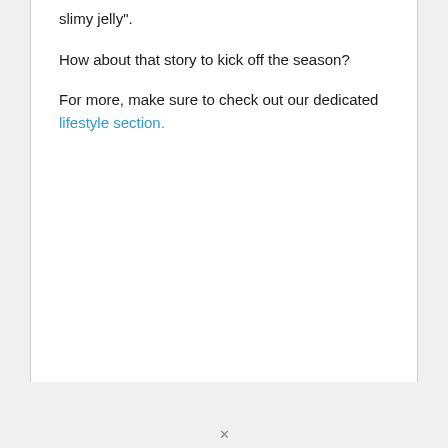slimy jelly".
How about that story to kick off the season?
For more, make sure to check out our dedicated lifestyle section.